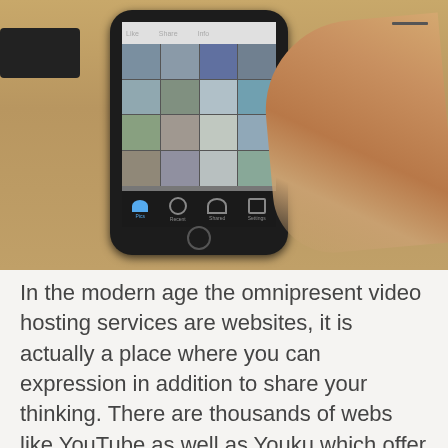[Figure (photo): A photograph showing a person's hand/finger touching the screen of a smartphone (iPhone-style) that displays a photo gallery grid app. The phone is placed on a wooden surface.]
In the modern age the omnipresent video hosting services are websites, it is actually a place where you can expression in addition to share your thinking. There are thousands of webs like YouTube as well as Youku which offer the facility to upload your videos free. Some prominent websites have been given below.